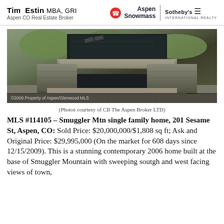Tim Estin MBA, GRI — Aspen CO Real Estate Broker | Aspen Snowmass Sotheby's International Realty
[Figure (photo): Aerial/overhead view of a modern stone water feature with rectangular pools and geometric stone paving at a luxury home. Copyright 2009 Property of Aspen/Glenwood MLS.]
(Photos courtesy of CB The Aspen Broker LTD)
MLS #114105 – Smuggler Mtn single family home, 201 Sesame St, Aspen, CO: Sold Price: $20,000,000/$1,808 sq ft; Ask and Original Price: $29,995,000 (On the market for 608 days since 12/15/2009). This is a stunning contemporary 2006 home built at the base of Smuggler Mountain with sweeping soutgh and west facing views of town,